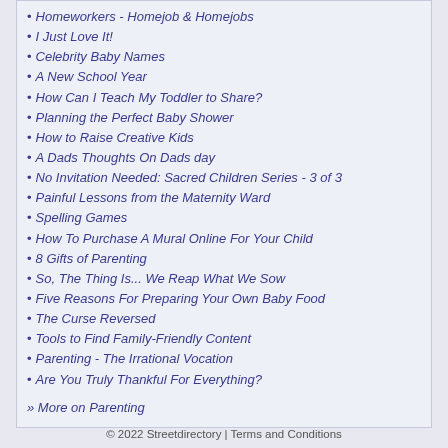Homeworkers - Homejob & Homejobs
I Just Love It!
Celebrity Baby Names
A New School Year
How Can I Teach My Toddler to Share?
Planning the Perfect Baby Shower
How to Raise Creative Kids
A Dads Thoughts On Dads day
No Invitation Needed: Sacred Children Series - 3 of 3
Painful Lessons from the Maternity Ward
Spelling Games
How To Purchase A Mural Online For Your Child
8 Gifts of Parenting
So, The Thing Is... We Reap What We Sow
Five Reasons For Preparing Your Own Baby Food
The Curse Reversed
Tools to Find Family-Friendly Content
Parenting - The Irrational Vocation
Are You Truly Thankful For Everything?
» More on Parenting
© 2022 Streetdirectory | Terms and Conditions